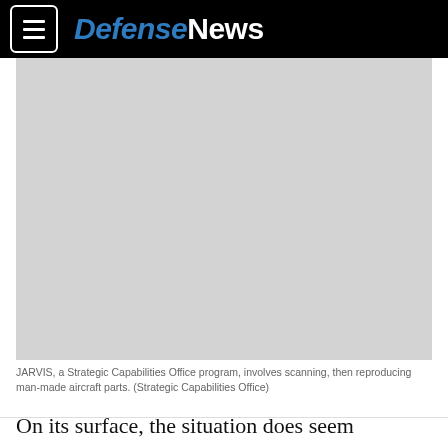DefenseNews
[Figure (photo): Gray placeholder image for JARVIS Strategic Capabilities Office program showing aircraft parts scanning and reproduction]
JARVIS, a Strategic Capabilities Office program, involves scanning, then reproducing man-made aircraft parts. (Strategic Capabilities Office)
On its surface, the situation does seem discouraging. The director